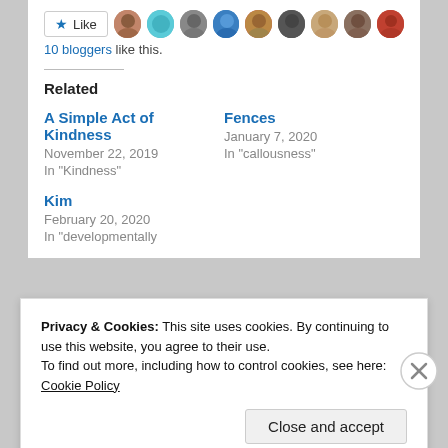[Figure (other): Like button with star icon and 9 blogger avatar thumbnails in a row]
10 bloggers like this.
Related
A Simple Act of Kindness
November 22, 2019
In "Kindness"
Fences
January 7, 2020
In "callousness"
Kim
February 20, 2020
In "developmentally
Privacy & Cookies: This site uses cookies. By continuing to use this website, you agree to their use.
To find out more, including how to control cookies, see here: Cookie Policy
Close and accept